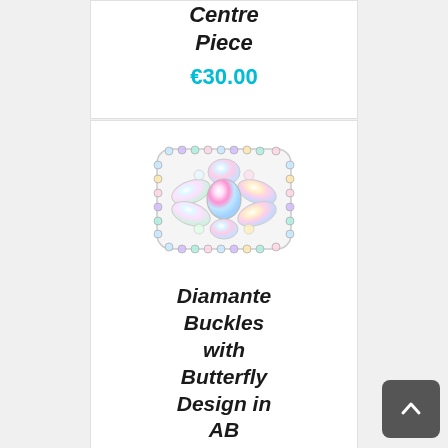Centre Piece
€30.00
[Figure (photo): A diamante buckle accessory with butterfly/crystal design in Aurora Borealis (AB) finish, featuring iridescent multi-colored rhinestones arranged in a rectangular decorative buckle shape.]
Diamante Buckles with Butterfly Design in AB